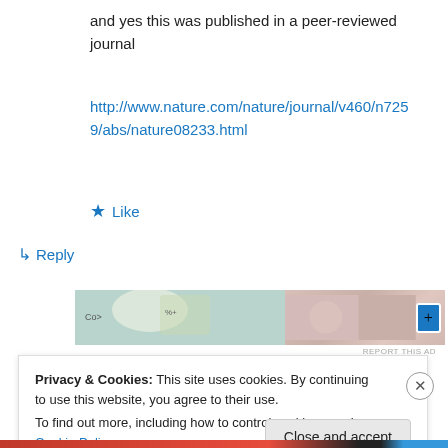and yes this was published in a peer-reviewed journal
http://www.nature.com/nature/journal/v460/n7259/abs/nature08233.html
★ Like
↳ Reply
[Figure (photo): Advertisement banner with colorful images]
REPORT THIS AD
Privacy & Cookies: This site uses cookies. By continuing to use this website, you agree to their use.
To find out more, including how to control cookies, see here: Cookie Policy
Close and accept